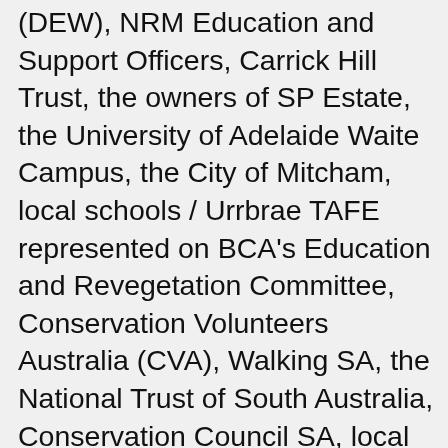(DEW), NRM Education and Support Officers, Carrick Hill Trust, the owners of SP Estate, the University of Adelaide Waite Campus, the City of Mitcham, local schools / Urrbrae TAFE represented on BCA's Education and Revegetation Committee, Conservation Volunteers Australia (CVA), Walking SA, the National Trust of South Australia, Conservation Council SA, local businesses and the wider community. The Minister for Environment, David Speirs MP, Sam Duluk MP (State Member for Waite) and Nicolle Flint MP (Federal Member for Boothby), have secured funding and provided essential support and encouragement for our joint community